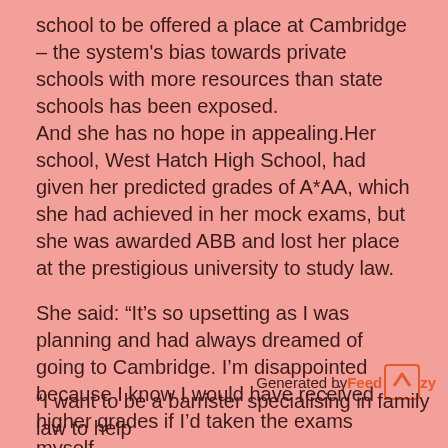school to be offered a place at Cambridge – the system's bias towards private schools with more resources than state schools has been exposed.
And she has no hope in appealing.Her school, West Hatch High School, had given her predicted grades of A*AA, which she had achieved in her mock exams, but she was awarded ABB and lost her place at the prestigious university to study law.

She said: “It’s so upsetting as I was planning and had always dreamed of going to Cambridge. I’m disappointed because I know I would have received higher grades if I’d taken the exams myself.
“They’re not giving children a chance to succeed. My school has never been high-achieving.
“I want to be a barrister specialising in family law to help